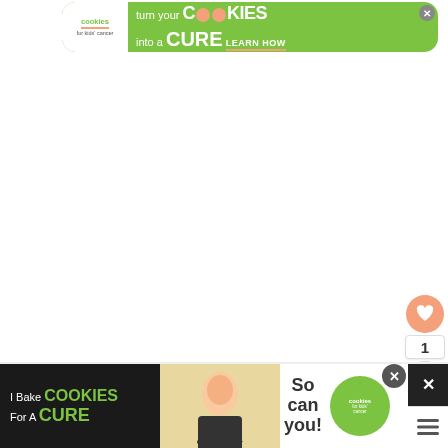[Figure (infographic): Green advertisement banner for Cookies for Kids Cancer charity: 'turn your COOKIES into a CURE LEARN HOW' with logo on left and X close button]
[Figure (photo): Large white/blank area representing a food photo placeholder (main content area)]
[Figure (infographic): Heart/favorite button (salmon/orange circle with heart icon), count '1', and share button below it on right side]
Skinny Homemade Ranch
[Figure (infographic): WHAT'S NEXT arrow with thumbnail image and text 'Homemade Strawberry...']
[Figure (infographic): Bottom advertisement banner for Cookies for Kids Cancer: 'I Bake COOKIES For A CURE' with person image, 'So can you!' text, cookies logo, X close button and more options icon]